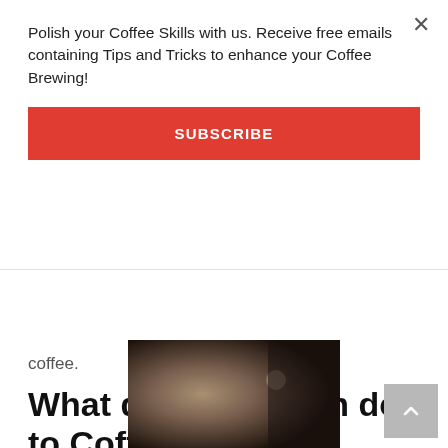Polish your Coffee Skills with us. Receive free emails containing Tips and Tricks to enhance your Coffee Brewing!
SUBSCRIBE
coffee.
What does Nitrogen do to Coffee?
[Figure (photo): Dark blurry photo of a coffee drink or coffee-related scene]